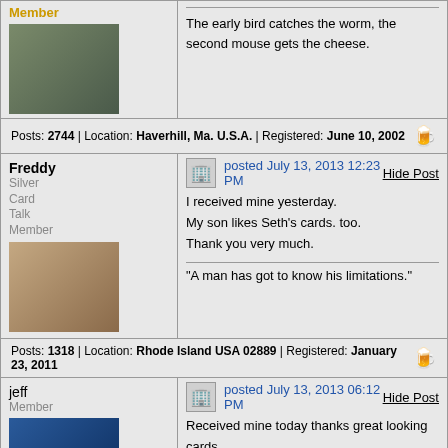The early bird catches the worm, the second mouse gets the cheese.
Posts: 2744 | Location: Haverhill, Ma. U.S.A. | Registered: June 10, 2002
Freddy Silver Card Talk Member
posted July 13, 2013 12:23 PM
Hide Post
I received mine yesterday.
My son likes Seth's cards. too.
Thank you very much.
"A man has got to know his limitations."
Posts: 1318 | Location: Rhode Island USA 02889 | Registered: January 23, 2011
jeff Member
posted July 13, 2013 06:12 PM
Hide Post
Received mine today thanks great looking cards
Jeff
Posts: 92 | Location: FORT PIERCE FLORIDA | Registered: April 18, 2002
preservevideo Member
posted July 25, 2013 04:51 PM
Hide Post